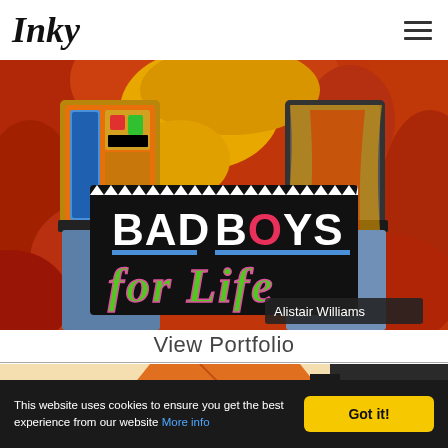Inky
[Figure (illustration): Illustrated poster for Bad Boys for Life showing two characters in colorful outfits against a red/orange background with 'BAD BOYS for Life' text in the center and 'Alistair Williams' credit at bottom right]
View Portfolio
[Figure (illustration): Partial view of another illustration with orange/tan tones]
This website uses cookies to ensure you get the best experience from our website More info Got it!